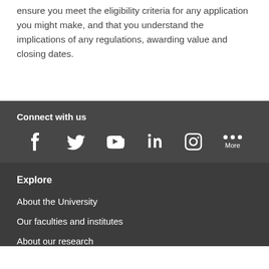ensure you meet the eligibility criteria for any application you might make, and that you understand the implications of any regulations, awarding value and closing dates.
Connect with us
[Figure (infographic): Social media icons row: Facebook, Twitter, YouTube, LinkedIn, Instagram, More (three dots)]
Explore
About the University
Our faculties and institutes
About our research